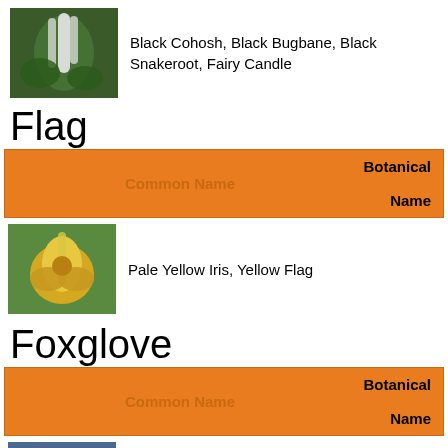[Figure (photo): Black Cohosh plant with white flower spikes]
Black Cohosh, Black Bugbane, Black Snakeroot, Fairy Candle
Flag
| Common Name | Botanical Name |
| --- | --- |
| Pale Yellow Iris, Yellow Flag |  |
[Figure (photo): Yellow iris / pale yellow flag flower]
Pale Yellow Iris, Yellow Flag
Foxglove
| Common Name | Botanical Name |
| --- | --- |
| Purple Foxglove, Foxglove, Common Foxglove |  |
| Rusty Foxglove |  |
[Figure (photo): Purple foxglove plant with pink bell-shaped flowers]
Purple Foxglove, Foxglove, Common Foxglove
[Figure (photo): Rusty foxglove with pale cream/white flowers]
Rusty Foxglove